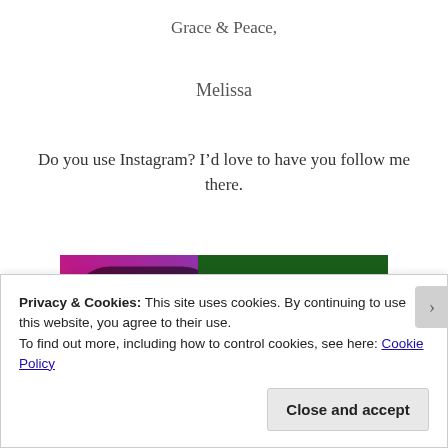Grace & Peace,
Melissa
Do you use Instagram? I’d love to have you follow me there.
[Figure (photo): Instagram logo icon on left with gradient pink-to-purple colors, and a bee on a yellow flower on the right, against a dark green background.]
Privacy & Cookies: This site uses cookies. By continuing to use this website, you agree to their use.
To find out more, including how to control cookies, see here: Cookie Policy
Close and accept